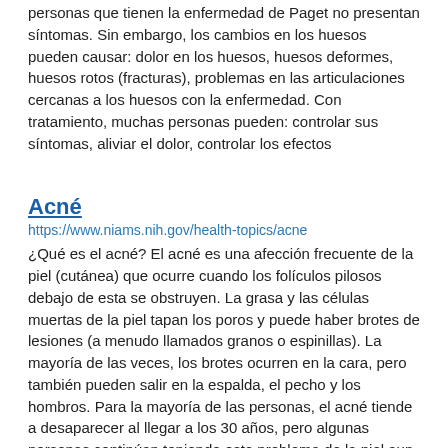personas que tienen la enfermedad de Paget no presentan síntomas. Sin embargo, los cambios en los huesos pueden causar: dolor en los huesos, huesos deformes, huesos rotos (fracturas), problemas en las articulaciones cercanas a los huesos con la enfermedad. Con tratamiento, muchas personas pueden: controlar sus síntomas, aliviar el dolor, controlar los efectos
Acné
https://www.niams.nih.gov/health-topics/acne
¿Qué es el acné? El acné es una afección frecuente de la piel (cutánea) que ocurre cuando los folículos pilosos debajo de esta se obstruyen. La grasa y las células muertas de la piel tapan los poros y puede haber brotes de lesiones (a menudo llamados granos o espinillas). La mayoría de las veces, los brotes ocurren en la cara, pero también pueden salir en la espalda, el pecho y los hombros. Para la mayoría de las personas, el acné tiende a desaparecer al llegar a los 30 años, pero algunas personas continúan teniendo este problema de la piel aun
_______(Acne)
https://www.niams.nih.gov/health-topics/acne